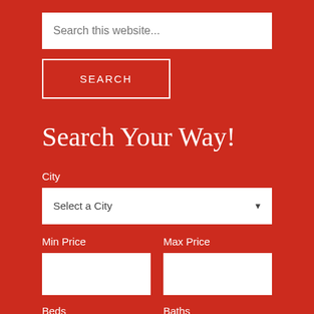Search this website...
SEARCH
Search Your Way!
City
Select a City
Min Price
Max Price
Beds
Baths